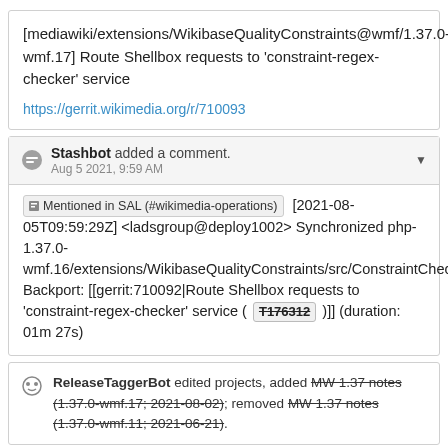[mediawiki/extensions/WikibaseQualityConstraints@wmf/1.37.0-wmf.17] Route Shellbox requests to 'constraint-regex-checker' service
https://gerrit.wikimedia.org/r/710093
Stashbot added a comment. Aug 5 2021, 9:59 AM
Mentioned in SAL (#wikimedia-operations) [2021-08-05T09:59:29Z] <ladsgroup@deploy1002> Synchronized php-1.37.0-wmf.16/extensions/WikibaseQualityConstraints/src/ConstraintCheck/Checker/FormatChecker.php: Backport: [[gerrit:710092|Route Shellbox requests to 'constraint-regex-checker' service ( T176312 )]] (duration: 01m 27s)
ReleaseTaggerBot edited projects, added MW 1.37 notes (1.37.0-wmf.17; 2021-08-02); removed MW 1.37 notes (1.37.0-wmf.11; 2021-06-21).